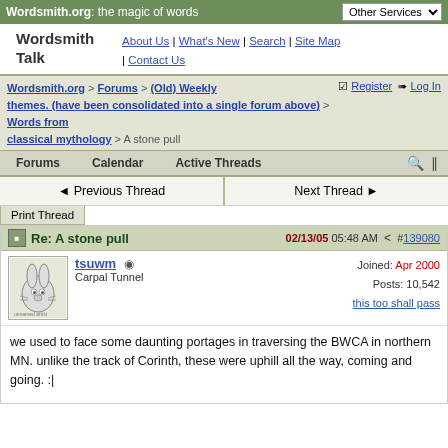Wordsmith.org: the magic of words | Other Services
Wordsmith Talk
About Us | What's New | Search | Site Map | Contact Us
Wordsmith.org > Forums > (Old) Weekly themes. (have been consolidated into a single forum above) > Words from classical mythology > A stone pull
Register  Log In
Forums   Calendar   Active Threads
◄ Previous Thread   Next Thread ►
Print Thread
Re: A stone pull
02/13/05 05:48 AM  #139080
tsuwm
Carpal Tunnel
Joined: Apr 2000
Posts: 10,542
this too shall pass
we used to face some daunting portages in traversing the BWCA in northern MN. unlike the track of Corinth, these were uphill all the way, coming and going. :|